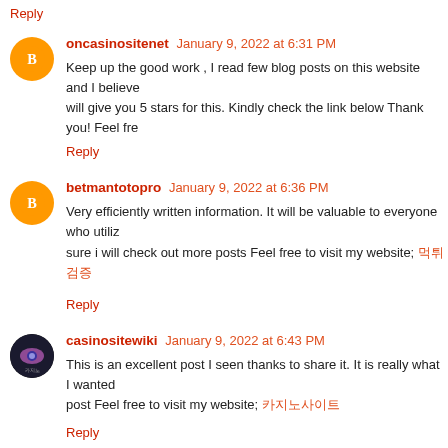Reply
oncasinositenet  January 9, 2022 at 6:31 PM
Keep up the good work , I read few blog posts on this website and I believe will give you 5 stars for this. Kindly check the link below Thank you! Feel fre
Reply
betmantotopro  January 9, 2022 at 6:36 PM
Very efficiently written information. It will be valuable to everyone who utiliz sure i will check out more posts Feel free to visit my website; 먹튀검증
Reply
casinositewiki  January 9, 2022 at 6:43 PM
This is an excellent post I seen thanks to share it. It is really what I wanted post Feel free to visit my website; 카지노사이트
Reply